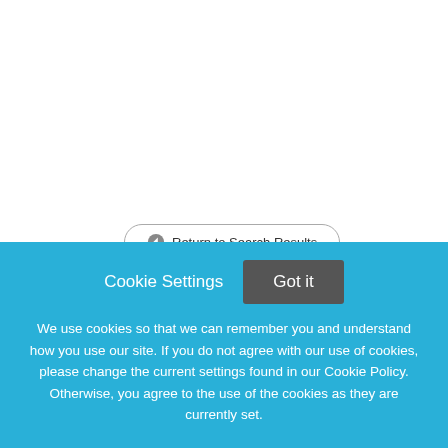Return to Search Results
Outpatient Psychiatrist (Child or Adult)
At LifeStance Health, we strive to help individuals, families, and communities with their mental health
Cookie Settings
Got it
We use cookies so that we can remember you and understand how you use our site. If you do not agree with our use of cookies, please change the current settings found in our Cookie Policy. Otherwise, you agree to the use of the cookies as they are currently set.